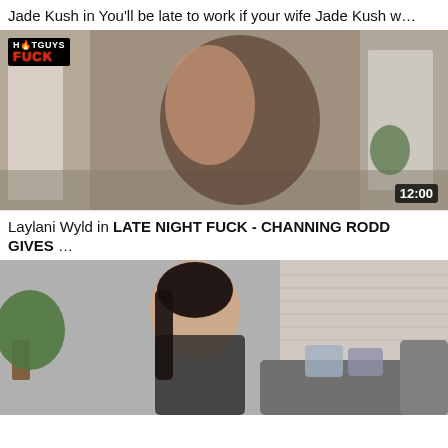Jade Kush in You'll be late to work if your wife Jade Kush w…
[Figure (photo): Video thumbnail showing two people embracing indoors, with HotGuysFuck logo in top left and duration 12:00 in bottom right]
Laylani Wyld in LATE NIGHT FUCK - CHANNING RODD GIVES …
[Figure (photo): Video thumbnail showing a young woman with long dark hair sitting on a couch with plants in background]